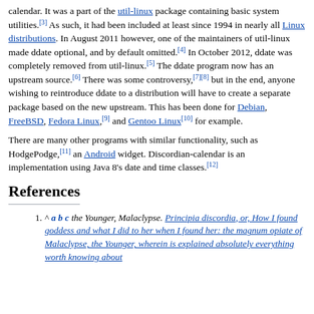calendar. It was a part of the util-linux package containing basic system utilities.[3] As such, it had been included at least since 1994 in nearly all Linux distributions. In August 2011 however, one of the maintainers of util-linux made ddate optional, and by default omitted.[4] In October 2012, ddate was completely removed from util-linux.[5] The ddate program now has an upstream source.[6] There was some controversy,[7][8] but in the end, anyone wishing to reintroduce ddate to a distribution will have to create a separate package based on the new upstream. This has been done for Debian, FreeBSD, Fedora Linux,[9] and Gentoo Linux[10] for example.
There are many other programs with similar functionality, such as HodgePodge,[11] an Android widget. Discordian-calendar is an implementation using Java 8's date and time classes.[12]
References
^ a b c the Younger, Malaclypse. Principia discordia, or, How I found goddess and what I did to her when I found her: the magnum opiate of Malaclypse, the Younger, wherein is explained absolutely everything worth knowing about